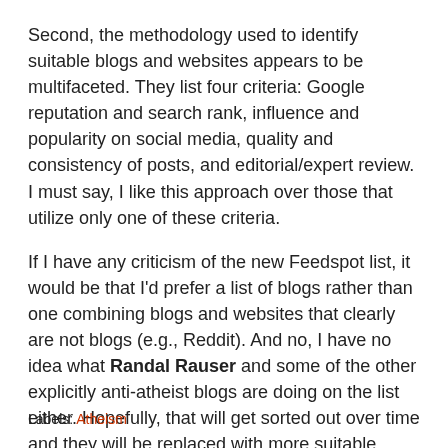Second, the methodology used to identify suitable blogs and websites appears to be multifaceted. They list four criteria: Google reputation and search rank, influence and popularity on social media, quality and consistency of posts, and editorial/expert review. I must say, I like this approach over those that utilize only one of these criteria.
If I have any criticism of the new Feedspot list, it would be that I'd prefer a list of blogs rather than one combining blogs and websites that clearly are not blogs (e.g., Reddit). And no, I have no idea what Randal Rauser and some of the other explicitly anti-atheist blogs are doing on the list either. Hopefully, that will get sorted out over time and they will be replaced with more suitable atheist blogs.
Labels: Atheism